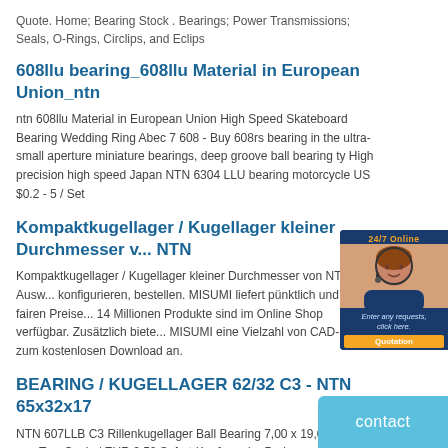Quote. Home; Bearing Stock . Bearings; Power Transmissions; Seals, O-Rings, Circlips, and Eclips
608llu bearing_608llu Material in European Union_ntn
ntn 608llu Material in European Union High Speed Skateboard Bearing Wedding Ring Abec 7 608 - Buy 608rs bearing in the ultra-small aperture miniature bearings, deep groove ball bearing ty High precision high speed Japan NTN 6304 LLU bearing motorcycle US $0.2 - 5 / Set
Kompaktkugellager / Kugellager kleiner Durchmesser v... NTN
Kompaktkugellager / Kugellager kleiner Durchmesser von NTN - Ausw... konfigurieren, bestellen. MISUMI liefert pünktlich und zu fairen Preise... 14 Millionen Produkte sind im Online Shop verfügbar. Zusätzlich biete... MISUMI eine Vielzahl von CAD-Daten zum kostenlosen Download an.
BEARING / KUGELLAGER 62/32 C3 - NTN 65x32x17
NTN 607LLB C3 Rillenkugellager Ball Bearing 7,00 x 19,00 x 6,00 mm Two Seals / EUR 3,50 Sofort-Kaufen oder Preisvorschlag 28d 14h. Siehe Details. NTN 634ZZ C3/1K Rillenkugellager Ball Bearing 4 x 16 x 5 mm 2Z / ZZ Steel Seal. EUR 3,50 Sofort-Kaufen oder Preisvorschlag 26d 14h
NTN Micro 600 Single Row Deep Groove Radial Ball Bearing |